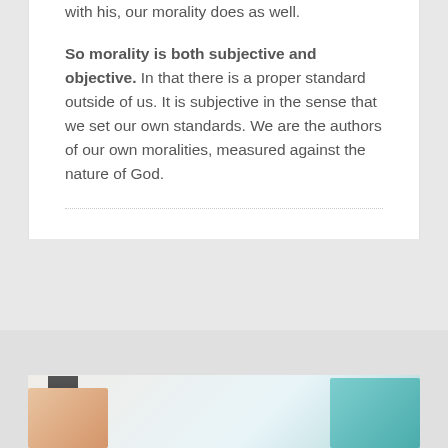with his, our morality does as well.
So morality is both subjective and objective. In that there is a proper standard outside of us. It is subjective in the sense that we set our own standards. We are the authors of our own moralities, measured against the nature of God.
[Figure (photo): Partial view of a photo at the bottom of the page showing what appears to be a book or object with warm tones on the left and teal/turquoise geometric shapes on the right, against a light background.]